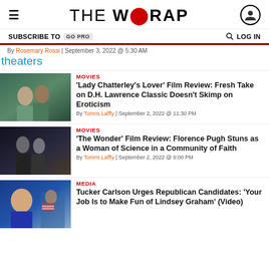THE WRAP
SUBSCRIBE TO GO PRO   LOG IN
By Rosemary Rossi | September 3, 2022 @ 5:30 AM
theaters
[Figure (photo): Two people about to kiss outdoors in a green setting]
MOVIES
'Lady Chatterley's Lover' Film Review: Fresh Take on D.H. Lawrence Classic Doesn't Skimp on Eroticism
By Tomris Laffly | September 2, 2022 @ 11:30 PM
[Figure (photo): Silhouette of two figures, one touching the other's face]
MOVIES
'The Wonder' Film Review: Florence Pugh Stuns as a Woman of Science in a Community of Faith
By Tomris Laffly | September 2, 2022 @ 9:00 PM
[Figure (photo): Tucker Carlson on TV with political figure in background]
MEDIA
Tucker Carlson Urges Republican Candidates: 'Your Job Is to Make Fun of Lindsey Graham' (Video)